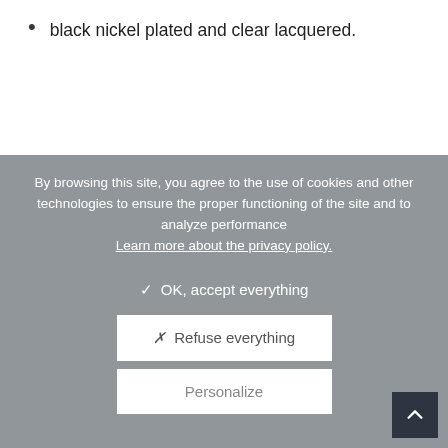black nickel plated and clear lacquered.
By browsing this site, you agree to the use of cookies and other technologies to ensure the proper functioning of the site and to analyze performance Learn more about the privacy policy.
✓ OK, accept everything
✗ Refuse everything
Personalize